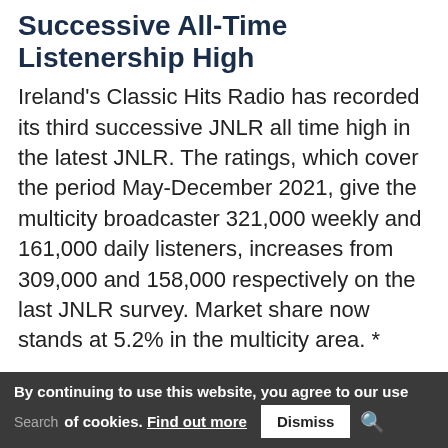Successive All-Time Listenership High
Ireland's Classic Hits Radio has recorded its third successive JNLR all time high in the latest JNLR. The ratings, which cover the period May-December 2021, give the multicity broadcaster 321,000 weekly and 161,000 daily listeners, increases from 309,000 and 158,000 respectively on the last JNLR survey. Market share now stands at 5.2% in the multicity area. *
By continuing to use this website, you agree to our use of cookies. Find out more Dismiss